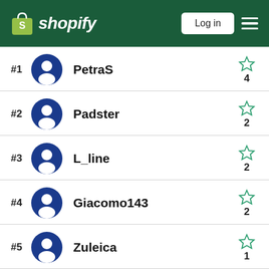Shopify — Log in
#1 PetraS — 4 stars
#2 Padster — 2 stars
#3 L_line — 2 stars
#4 Giacomo143 — 2 stars
#5 Zuleica — 1 star